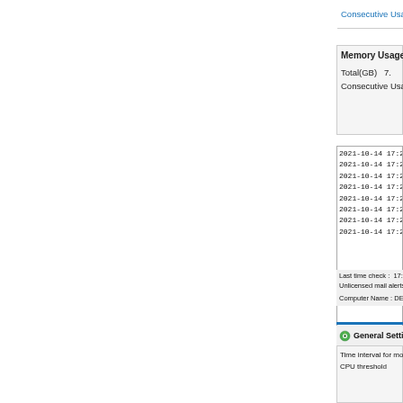Consecutive Usage
Memory Usage
Total(GB)    7.
Consecutive Usage
| 2021-10-14 17:26:56 |
| 2021-10-14 17:26:56 |
| 2021-10-14 17:26:50 |
| 2021-10-14 17:26:50 |
| 2021-10-14 17:26:45 |
| 2021-10-14 17:26:45 |
| 2021-10-14 17:26:39 |
| 2021-10-14 17:26:34 |
Last time check :  17:
Unlicensed mail alerts
Computer Name : DES
General Settings
Time interval for mo
CPU threshold